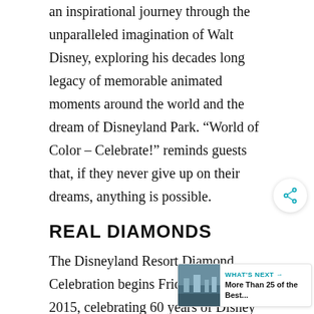an inspirational journey through the unparalleled imagination of Walt Disney, exploring his decades long legacy of memorable animated moments around the world and the dream of Disneyland Park. “World of Color – Celebrate!” reminds guests that, if they never give up on their dreams, anything is possible.
REAL DIAMONDS
The Disneyland Resort Diamond Celebration begins Friday, May 22, 2015, celebrating 60 years of Disney magic with three new nighttime spectaculars, dazzling decor and an exciting sweepstakes that will award
[Figure (other): Share button (circular icon with share symbol) and a 'What's Next' widget showing a thumbnail image of a city skyline and text 'More Than 25 of the Best...']